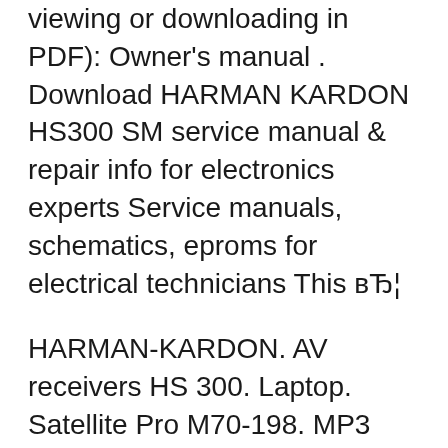viewing or downloading in PDF): Owner's manual . Download HARMAN KARDON HS300 SM service manual & repair info for electronics experts Service manuals, schematics, eproms for electrical technicians This вЂ¦
HARMAN-KARDON. AV receivers HS 300. Laptop. Satellite Pro M70-198. MP3 Player Accessories. Harman Kardon The Bridge III BRIDGEIII MP3 Docking Station THE BRIDGE AVR 340. Microphone. Microphone CBL 410 PCC Or point us to the URL where the manual is located. Oh no! Your manual failed to upload... Please try again. with the Harman Kardon HS300 home theater. The salesman then played the movie -